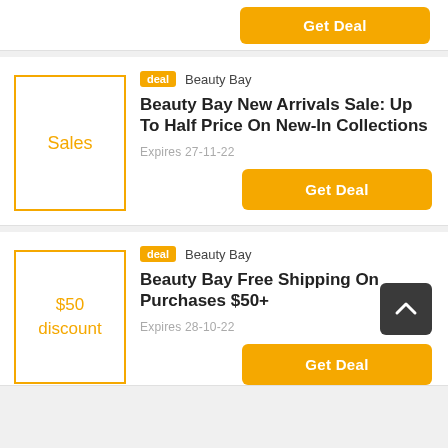[Figure (other): Partial 'Get Deal' button visible at top of page, yellow/gold color]
deal  Beauty Bay
Beauty Bay New Arrivals Sale: Up To Half Price On New-In Collections
Expires 27-11-22
Get Deal
deal  Beauty Bay
Beauty Bay Free Shipping On Purchases $50+
Expires 28-10-22
Get Deal